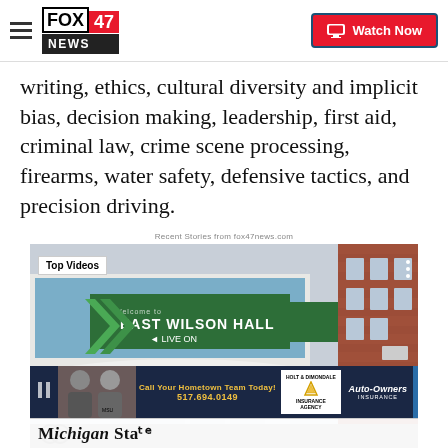FOX 47 NEWS | Watch Now
writing, ethics, cultural diversity and implicit bias, decision making, leadership, first aid, criminal law, crime scene processing, firearms, water safety, defensive tactics, and precision driving.
Recent Stories from fox47news.com
[Figure (photo): East Wilson Hall building entrance with green arrow signage and brick exterior. Overlay shows 'Top Videos' label and an ad banner reading 'Call Your Hometown Team Today! 517.694.0149' with Holt & Dimondale Insurance Agency and Auto-Owners Insurance logos. Bottom shows partial text 'Michigan Sta...']